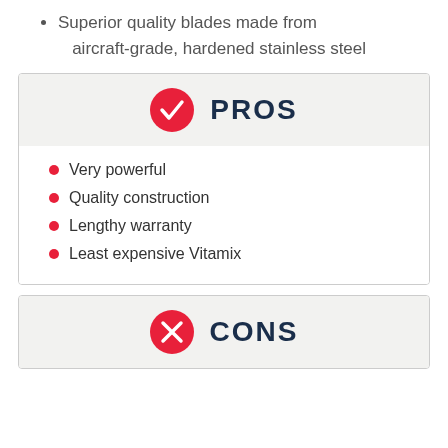Superior quality blades made from aircraft-grade, hardened stainless steel
PROS
Very powerful
Quality construction
Lengthy warranty
Least expensive Vitamix
CONS